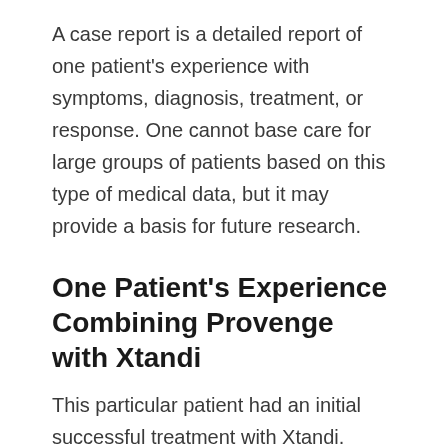A case report is a detailed report of one patient's experience with symptoms, diagnosis, treatment, or response. One cannot base care for large groups of patients based on this type of medical data, but it may provide a basis for future research.
One Patient's Experience Combining Provenge with Xtandi
This particular patient had an initial successful treatment with Xtandi. Prostate-specific antigen (PSA) levels became undetectable, but began to rise after approximately 14 months. The patient...